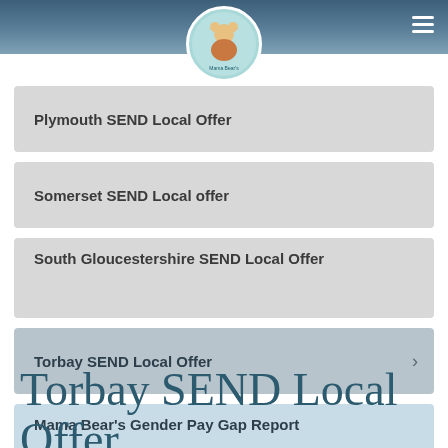Mama Bear's Day Nursery
Plymouth SEND Local Offer
Somerset SEND Local offer
South Gloucestershire SEND Local Offer
Torbay SEND Local Offer
Mama Bear's Gender Pay Gap Report
Torbay SEND Local Offer